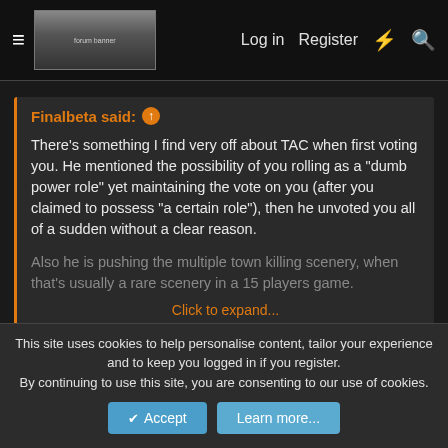≡  [logo]  Log in  Register  ⚡  🔍
Finalbeta said: ↑

There's something I find very off about TAC when first voting you. He mentioned the possibility of you rolling as a "dumb power role" yet maintaining the vote on you (after you claimed to possess "a certain role"), then he unvoted you all of a sudden without a clear reason.

Also he is pushing the multiple town killing scenery, when that's usually a rare scenery in a 15 players game.

Click to expand...
I didn't see his near admission until I reread it and quoted it. I had an idea that was what Lanji was doing, but I couldn't be sure. I was prepared to unvote when Lanji stopped his crusade on another townie.
This site uses cookies to help personalise content, tailor your experience and to keep you logged in if you register.
By continuing to use this site, you are consenting to our use of cookies.

Accept  Learn more...